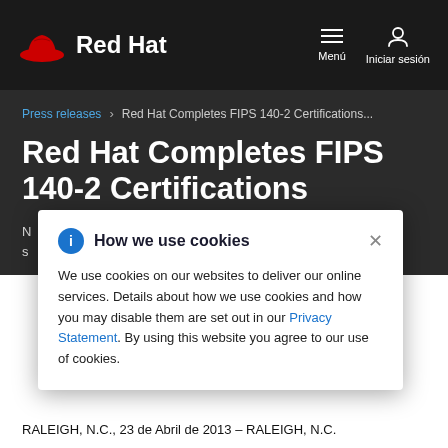Red Hat | Menú | Iniciar sesión
Press releases › Red Hat Completes FIPS 140-2 Certifications...
Red Hat Completes FIPS 140-2 Certifications
N... y issues s...
How we use cookies

We use cookies on our websites to deliver our online services. Details about how we use cookies and how you may disable them are set out in our Privacy Statement. By using this website you agree to our use of cookies.
RALEIGH, N.C., 23 de Abril de 2013 – RALEIGH, N.C.